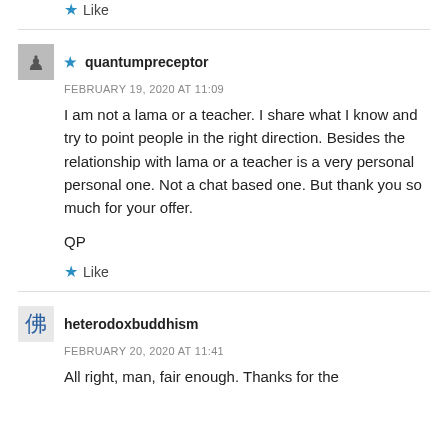Like
★ quantumpreceptor
FEBRUARY 19, 2020 AT 11:09
I am not a lama or a teacher. I share what I know and try to point people in the right direction. Besides the relationship with lama or a teacher is a very personal personal one. Not a chat based one. But thank you so much for your offer.

QP
Like
heterodoxbuddhism
FEBRUARY 20, 2020 AT 11:41
All right, man, fair enough. Thanks for the